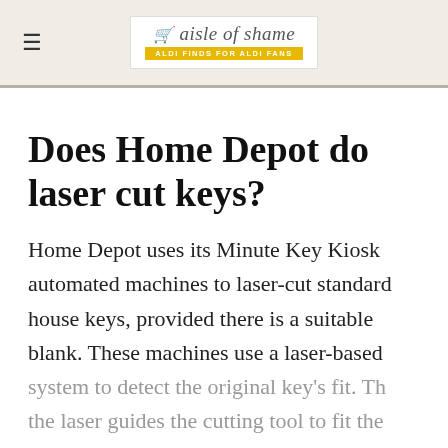≡  aisle of shame  ALDI FINDS FOR ALDI FANS
Does Home Depot do laser cut keys?
Home Depot uses its Minute Key Kiosk automated machines to laser-cut standard house keys, provided there is a suitable blank. These machines use a laser-based system to detect the original key's fit. Then the laser guides the cutting tool to fit the